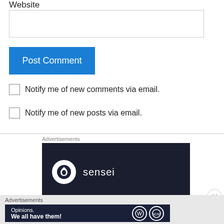Website
[Figure (screenshot): Website text input field (empty, white background with gray border)]
[Figure (screenshot): Post Comment button in blue (#1a7fd4)]
Notify me of new comments via email.
Notify me of new posts via email.
Advertisements
[Figure (logo): Sensei advertisement banner with dark navy background showing Sensei logo (circle with tree icon) and text 'sensei']
Advertisements
[Figure (screenshot): Bottom advertisement banner: dark navy background with text 'Opinions. We all have them!' and WordPress and other circular logos on the right]